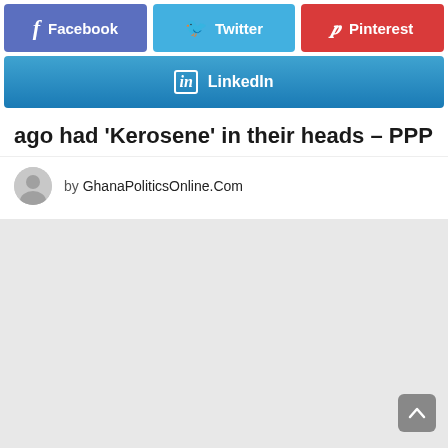[Figure (screenshot): Social share buttons row: Facebook (blue-purple), Twitter (light blue), Pinterest (red)]
[Figure (screenshot): LinkedIn share button (blue gradient), full width]
ago had 'Kerosene' in their heads – PPP
by GhanaPoliticsOnline.Com
[Figure (photo): Large light gray advertisement/image placeholder area]